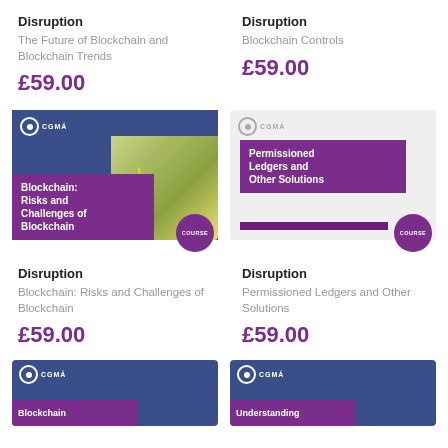Disruption
The Future of Blockchain and Blockchain Trends
£59.00
Disruption
Blockchain Controls
£59.00
[Figure (photo): Course card image: Blockchain: Risks and Challenges of Blockchain — blue header with CGMA logo, purple overlay text box, photo of building panels, COURSE badge]
[Figure (photo): Course card image: Permissioned Ledgers and Other Solutions — light gray background, purple text box, COURSE badge]
Disruption
Blockchain: Risks and Challenges of Blockchain
£59.00
Disruption
Permissioned Ledgers and Other Solutions
£59.00
[Figure (photo): Partial course card: Blockchain — blue background with CGMA logo and partial purple label]
[Figure (photo): Partial course card: Understanding — blue background with CGMA logo and partial purple label]